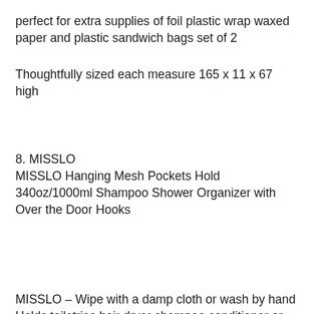perfect for extra supplies of foil plastic wrap waxed paper and plastic sandwich bags set of 2
Thoughtfully sized each measure 165 x 11 x 67 high
8. MISSLO
MISSLO Hanging Mesh Pockets Hold 340oz/1000ml Shampoo Shower Organizer with Over the Door Hooks
MISSLO – Wipe with a damp cloth or wash by hand Holds toiletries hair dryer shampoo conditioner or other personal care items to free up your cornershelf space Rust proof metal grommets 3 metal over the door hooks included for this hanging bathroom organizer Shower storage also can use your existing shower hooks onto your existing shower curtain liner Travel shower caddy bag 4 large mesh pockets each hold